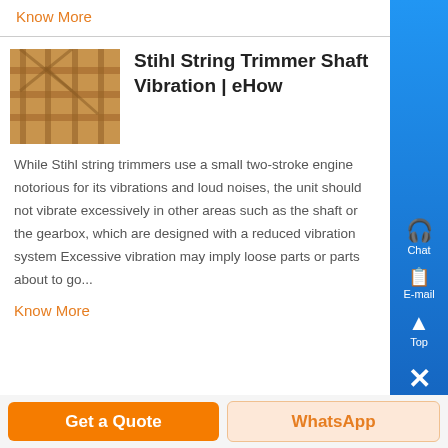Know More
Stihl String Trimmer Shaft Vibration | eHow
[Figure (photo): Photo of wooden structure/scaffolding in orange-brown tones]
While Stihl string trimmers use a small two-stroke engine notorious for its vibrations and loud noises, the unit should not vibrate excessively in other areas such as the shaft or the gearbox, which are designed with a reduced vibration system Excessive vibration may imply loose parts or parts about to go...
Know More
Get a Quote
WhatsApp